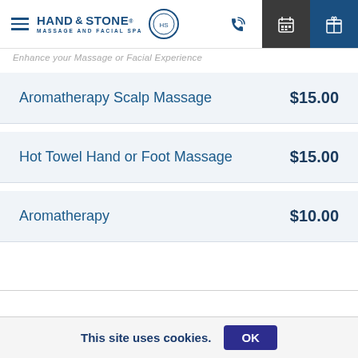Hand & Stone Massage and Facial Spa
Enhance your Massage or Facial Experience
| Service | Price |
| --- | --- |
| Aromatherapy Scalp Massage | $15.00 |
| Hot Towel Hand or Foot Massage | $15.00 |
| Aromatherapy | $10.00 |
This site uses cookies.